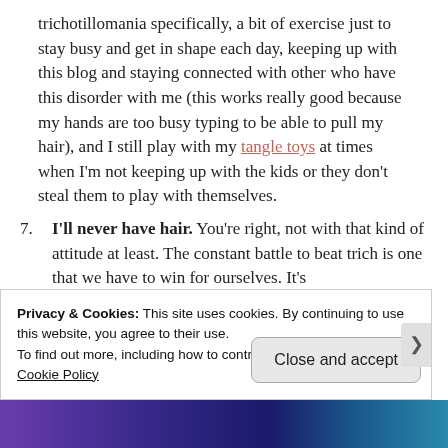trichotillomania specifically, a bit of exercise just to stay busy and get in shape each day, keeping up with this blog and staying connected with other who have this disorder with me (this works really good because my hands are too busy typing to be able to pull my hair), and I still play with my tangle toys at times when I'm not keeping up with the kids or they don't steal them to play with themselves.
7. I'll never have hair. You're right, not with that kind of attitude at least. The constant battle to beat trich is one that we have to win for ourselves. It's
Privacy & Cookies: This site uses cookies. By continuing to use this website, you agree to their use.
To find out more, including how to control cookies, see here: Cookie Policy